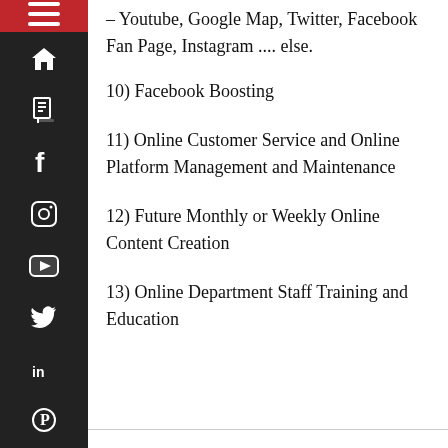– Youtube, Google Map, Twitter, Facebook Fan Page, Instagram .... else.
10) Facebook Boosting
11) Online Customer Service and Online Platform Management and Maintenance
12) Future Monthly or Weekly Online Content Creation
13) Online Department Staff Training and Education